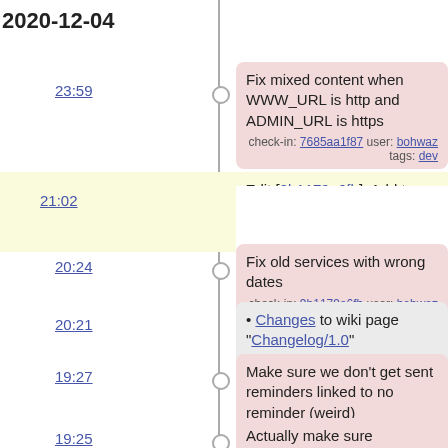2020-12-04
23:59 — Fix mixed content when WWW_URL is http and ADMIN_URL is https
check-in: 7685aa1f87 user: bohwaz tags: dev
21:02 — Edit [9b1179a6fb]: Add tag "1.0.0-rc5".
artifact: 9a7662cc44 user: bohwaz
20:24 — Fix old services with wrong dates
check-in: 9b1179a6fb user: bohwaz tags: dev, 1.0.0-rc5
20:21 — Changes to wiki page "Changelog/1.0"
artifact: 26a79134f7 user: bohwaz
19:27 — Make sure we don't get sent reminders linked to no reminder (weird)
check-in: 4bd0ced0d8 user: bohwaz tags: dev
19:25 — Actually make sure preCheck returns a bool